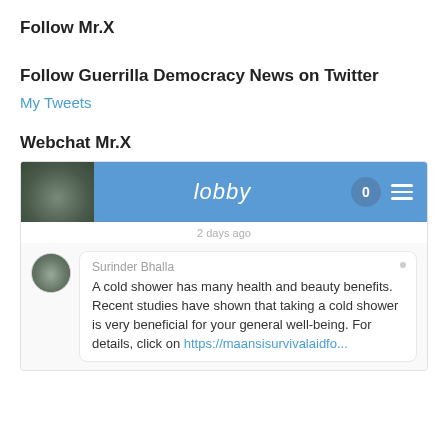Follow Mr.X
Follow Guerrilla Democracy News on Twitter
My Tweets
Webchat Mr.X
[Figure (screenshot): A webchat widget showing a lobby interface with a blue header bar containing the word 'lobby', a badge showing 0, and a hamburger menu icon. Below shows a timestamp '2 days ago' and a chat message from Surinder Bhalla about cold shower health benefits with a link to maansisurvivalaidfo...]
Surinder Bhalla
A cold shower has many health and beauty benefits. Recent studies have shown that taking a cold shower is very beneficial for your general well-being. For details, click on https://maansisurvivalaidfo...